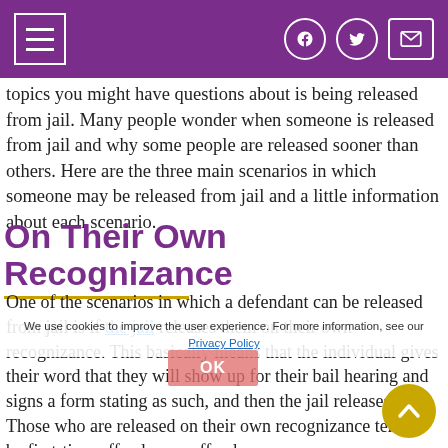[Navigation bar with hamburger menu and social icons on purple background]
topics you might have questions about is being released from jail. Many people wonder when someone is released from jail and why some people are released sooner than others. Here are the three main scenarios in which someone may be released from jail and a little information about each scenario.
On Their Own Recognizance
One of the scenarios in which a defendant can be released from jail is if the jail releases them on their own recognizance. This basically means that the individual gives their word that they will show up for their bail hearing and signs a form stating as such, and then the jail releases them. Those who are released on their own recognizance tend to be first-time offenders or offenders